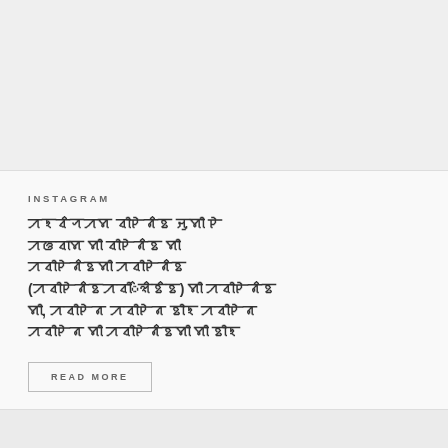[Figure (photo): Blurred/faded image area at top of card, light gray background suggesting a photo placeholder]
INSTAGRAM
ꠀꠁꠌ꠆ꠞꠀꠝ ꠌꠤꠄꠘ꠆ꠐ ꠔꠥꠝꠤ ꠄ ꠀꠃꠌꠣꠝ ꠝꠤ ꠌꠤꠄꠘ꠆ꠐ ꠝꠤ (ꠀꠌꠤꠄꠘ꠆ꠐꠀꠌꠤ) ꠝꠤ ꠀꠌꠤꠄꠘ ꠝꠤ, ꠀꠌꠤꠄꠘ ꠀꠌꠤꠄꠘ ꠐꠤꠁ ꠀꠌꠤꠄꠘ ꠀꠌꠤꠄꠘ ꠝꠤ ꠀꠌꠤꠄꠘ꠆ꠐꠝꠤ ꠝꠤ ꠐꠤꠁ
READ MORE
JUL 22, 2022  ♡ 106 💬